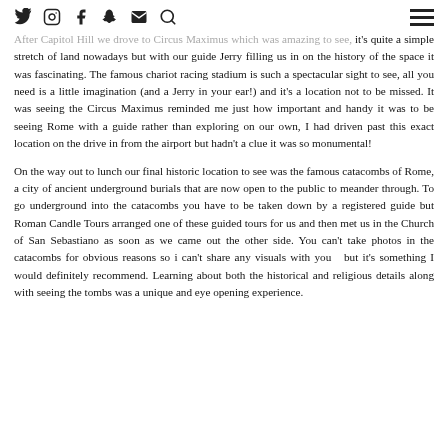[social icons: twitter, instagram, facebook, snapchat, email, search] [hamburger menu]
After Capitol Hill we drove to Circus Maximus which was amazing to see, it's quite a simple stretch of land nowadays but with our guide Jerry filling us in on the history of the space it was fascinating. The famous chariot racing stadium is such a spectacular sight to see, all you need is a little imagination (and a Jerry in your ear!) and it's a location not to be missed. It was seeing the Circus Maximus reminded me just how important and handy it was to be seeing Rome with a guide rather than exploring on our own, I had driven past this exact location on the drive in from the airport but hadn't a clue it was so monumental!
On the way out to lunch our final historic location to see was the famous catacombs of Rome, a city of ancient underground burials that are now open to the public to meander through. To go underground into the catacombs you have to be taken down by a registered guide but Roman Candle Tours arranged one of these guided tours for us and then met us in the Church of San Sebastiano as soon as we came out the other side. You can't take photos in the catacombs for obvious reasons so i can't share any visuals with you  but it's something I would definitely recommend. Learning about both the historical and religious details along with seeing the tombs was a unique and eye opening experience.